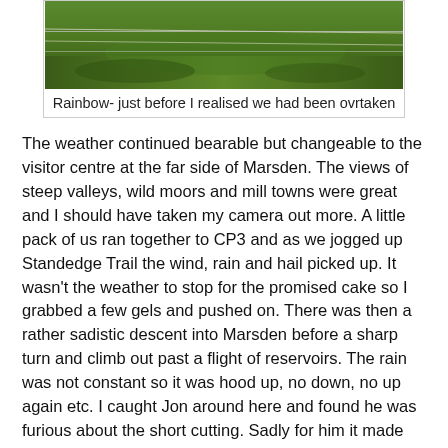[Figure (photo): A photograph showing a grassy hillside with a rainbow, taken just before the narrator realised they had been overtaken.]
Rainbow- just before I realised we had been ovrtaken
The weather continued bearable but changeable to the visitor centre at the far side of Marsden. The views of steep valleys, wild moors and mill towns were great and I should have taken my camera out more. A little pack of us ran together to CP3 and as we jogged up Standedge Trail the wind, rain and hail picked up. It wasn't the weather to stop for the promised cake so I grabbed a few gels and pushed on. There was then a rather sadistic descent into Marsden before a sharp turn and climb out past a flight of reservoirs. The rain was not constant so it was hood up, no down, no up again etc. I caught Jon around here and found he was furious about the short cutting. Sadly for him it made him despondent, whereas it fired me up determined to overtake people. This proved quite easy as they were moving slower anyway.  It was steadily up for about 4 miles but a scenic part of the course and no tarmac. The marshalls at CP4 were real heroes and despite their small camper van they must have been frozen in such an exposed position.